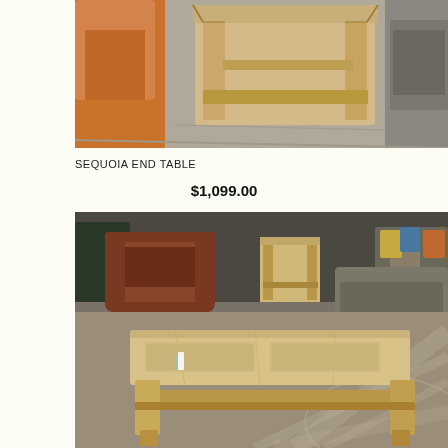[Figure (photo): Close-up photo of a wooden end table in a furniture showroom, with a tan leather sofa visible on the left and a grey fabric couch on the right. The table has a natural light wood finish with thick legs and a lower shelf.]
SEQUOIA END TABLE
$1,099.00
[Figure (photo): Photo of a light wood coffee table with two drawers and a lower shelf, displayed in a furniture showroom. A brown leather recliner is visible on the left, a grey sectional sofa on the right, and a matching end table in the background. The coffee table sits on a geometric patterned area rug.]